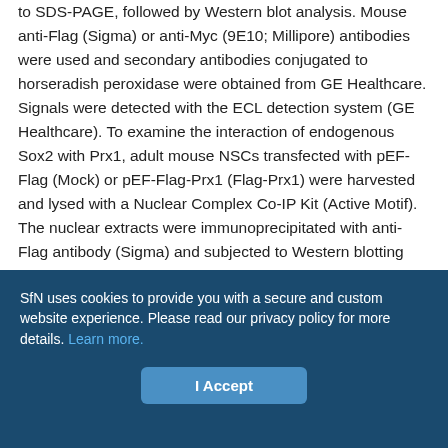to SDS-PAGE, followed by Western blot analysis. Mouse anti-Flag (Sigma) or anti-Myc (9E10; Millipore) antibodies were used and secondary antibodies conjugated to horseradish peroxidase were obtained from GE Healthcare. Signals were detected with the ECL detection system (GE Healthcare). To examine the interaction of endogenous Sox2 with Prx1, adult mouse NSCs transfected with pEF-Flag (Mock) or pEF-Flag-Prx1 (Flag-Prx1) were harvested and lysed with a Nuclear Complex Co-IP Kit (Active Motif). The nuclear extracts were immunoprecipitated with anti-Flag antibody (Sigma) and subjected to Western blotting with rabbit anti-Sox2 (Cell Signaling Technology) according to the manufacturer's instructions.
ADULT NEURAL STEM/PROGENITOR CELL CULTURES AND 5-BROMODEOXYURIDINE TREATMENT.
SfN uses cookies to provide you with a secure and custom website experience. Please read our privacy policy for more details. Learn more.